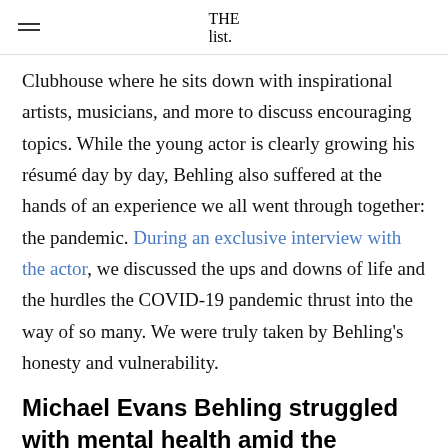THE list
Clubhouse where he sits down with inspirational artists, musicians, and more to discuss encouraging topics. While the young actor is clearly growing his résumé day by day, Behling also suffered at the hands of an experience we all went through together: the pandemic. During an exclusive interview with the actor, we discussed the ups and downs of life and the hurdles the COVID-19 pandemic thrust into the way of so many. We were truly taken by Behling's honesty and vulnerability.
Michael Evans Behling struggled with mental health amid the pandemic